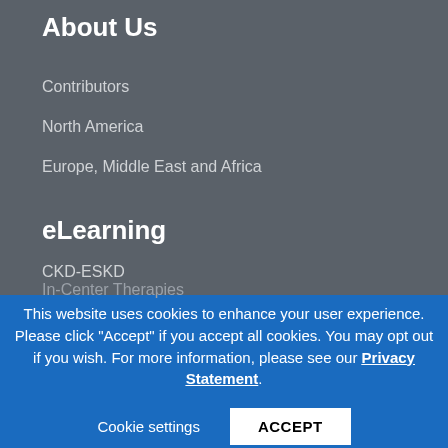About Us
Contributors
North America
Europe, Middle East and Africa
eLearning
CKD-ESKD
In-Center Therapies
This website uses cookies to enhance your user experience. Please click "Accept" if you accept all cookies. You may opt out if you wish. For more information, please see our Privacy Statement.
Cookie settings
ACCEPT